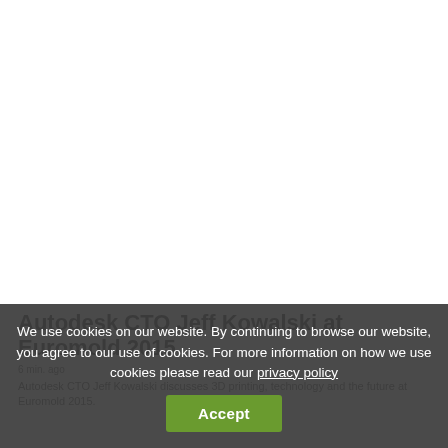[Figure (photo): Large photo area — Autodesk CTO Jeff Kowalski at Euromold 2015 event, upper portion of page]
Autodesk CTO Jeff Kowalski at Euromold 2015
6 min. ago
Autodesk CTO Jeff Kowalski discusses 3D printing, technology and the future at Euromold 2015.
We use cookies on our website. By continuing to browse our website, you agree to our use of cookies. For more information on how we use cookies please read our privacy policy
Accept